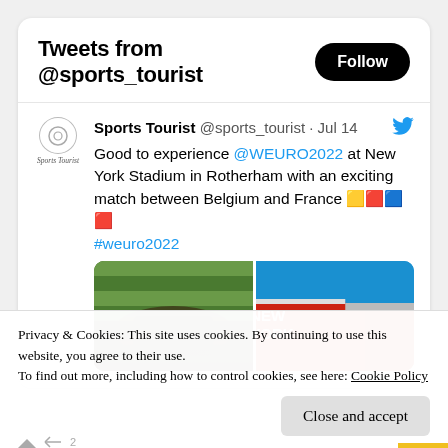Tweets from @sports_tourist
Sports Tourist @sports_tourist · Jul 14
Good to experience @WEURO2022 at New York Stadium in Rotherham with an exciting match between Belgium and France 🟨🟥🟦🟥 #weuro2022
[Figure (photo): Two side-by-side photos: left shows a football stadium green pitch with a spectator's hand raised; right shows the exterior of New York Stadium with red and white signage.]
Privacy & Cookies: This site uses cookies. By continuing to use this website, you agree to their use.
To find out more, including how to control cookies, see here: Cookie Policy